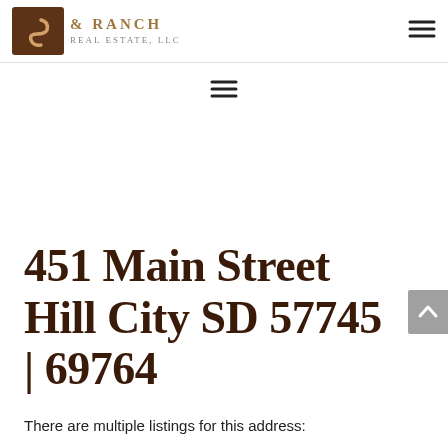& Ranch Real Estate, LLC
451 Main Street Hill City SD 57745 | 69764
There are multiple listings for this address: